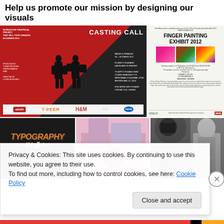Help us promote our mission by designing our visuals
[Figure (photo): Casting Call flyer for interactive theatrical project with Y-Peer Network, UNFPA Lebanon, H&M. Silhouettes of two people. Logos at bottom.]
[Figure (photo): Finger Painting Exhibit 2012 flyer with colorful artwork images and sponsor logos.]
[Figure (illustration): Typography In Art dark themed graphic with orange decorative lettering.]
[Figure (photo): Pink/purple building exterior with NAPA badge sign.]
[Figure (photo): Gray-tone photo of person with camera equipment.]
Privacy & Cookies: This site uses cookies. By continuing to use this website, you agree to their use.
To find out more, including how to control cookies, see here: Cookie Policy